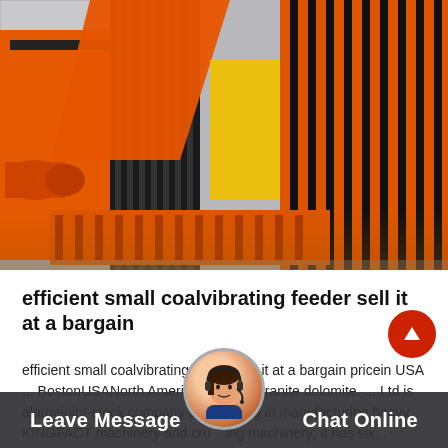[Figure (photo): Large orange and black industrial coal vibrating feeder machinery photographed outdoors. Multiple orange metal components with black ribbed panels/screens, yellow accent panel visible in background, motor assembly on the left.]
efficient small coalvibrating feeder sell it at a bargain
efficient small coalvibrating feeder sell it at a bargain pricein USA ... BostonUSANorth Americahigh-end granite dolomite. ... Ltd.is alargejoint-stock company specializing in manufacturing heavy KINGFACT machinery and crushing machinery; it has six...
Leave Message   Chat Online